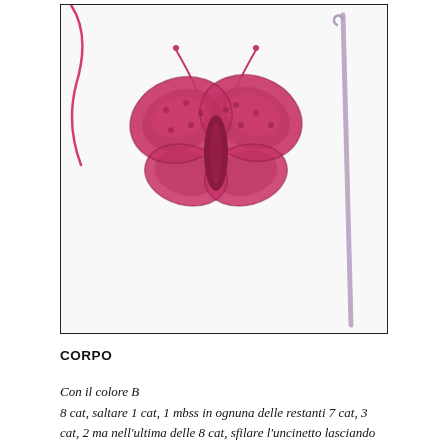[Figure (photo): Photo of a pink crocheted butterfly resting on a white surface next to a silver crochet hook, with pink yarn visible. Enclosed in a thin black border rectangle.]
CORPO
Con il colore B
8 cat, saltare 1 cat, 1 mbss in ognuna delle restanti 7 cat, 3 cat, 2 ma nell'ultima delle 8 cat, sfilare l'uncinetto lasciando l'ultima asola aperta, inserire l'uncinetto nella 3° delle 3 cat e poi di